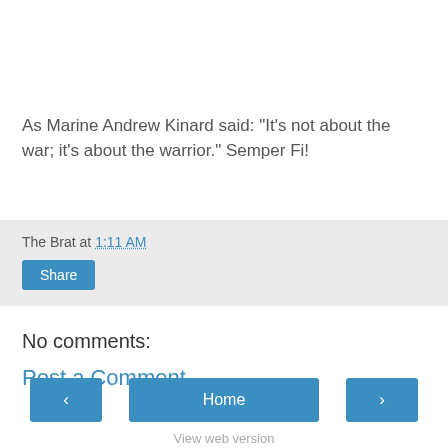As Marine Andrew Kinard said: "It's not about the war; it's about the warrior." Semper Fi!
The Brat at 1:11 AM
Share
No comments:
Post a Comment
‹  Home  ›  View web version